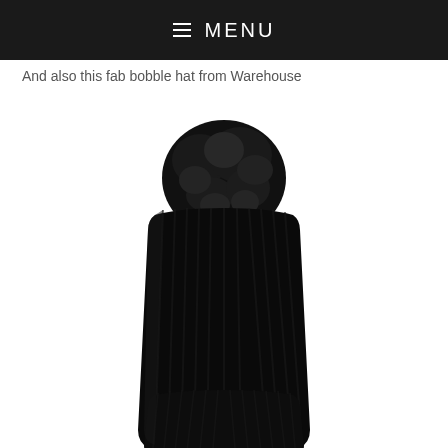≡ MENU
And also this fab bobble hat from Warehouse
[Figure (photo): A black knitted ribbed bobble hat with a large fluffy black pom-pom on top, photographed on a white background. The hat has a folded cuff at the bottom.]